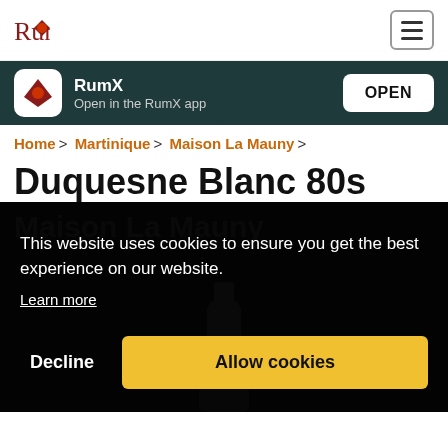Rum [logo] | hamburger menu
RumX
Open in the RumX app
OPEN
Home > Martinique > Maison La Mauny >
Duquesne Blanc 80s
[Figure (screenshot): Dark product image area with 'Maison La Mauny' watermark text and a bottle silhouette, overlaid by a cookie consent dialog reading 'This website uses cookies to ensure you get the best experience on our website. Learn more' with 'Decline' and 'Allow cookies' buttons.]